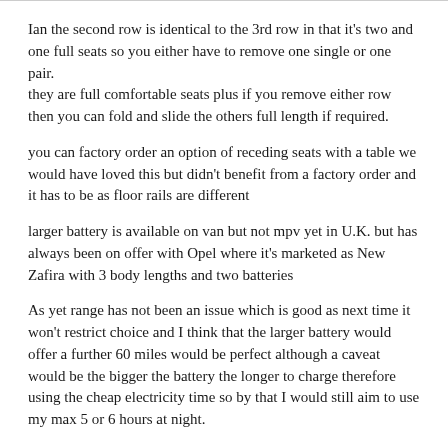Ian the second row is identical to the 3rd row in that it's two and one full seats so you either have to remove one single or one pair.
they are full comfortable seats plus if you remove either row then you can fold and slide the others full length if required.
you can factory order an option of receding seats with a table we would have loved this but didn't benefit from a factory order and it has to be as floor rails are different
larger battery is available on van but not mpv yet in U.K. but has always been on offer with Opel where it's marketed as New Zafira with 3 body lengths and two batteries
As yet range has not been an issue which is good as next time it won't restrict choice and I think that the larger battery would offer a further 60 miles would be perfect although a caveat would be the bigger the battery the longer to charge therefore using the cheap electricity time so by that I would still aim to use my max 5 or 6 hours at night.
things I know now that did not consider